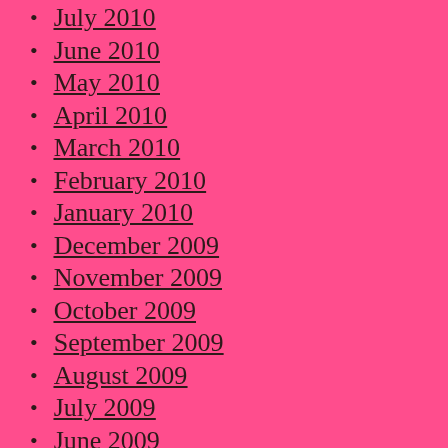July 2010
June 2010
May 2010
April 2010
March 2010
February 2010
January 2010
December 2009
November 2009
October 2009
September 2009
August 2009
July 2009
June 2009
May 2009
April 2009
December 2008